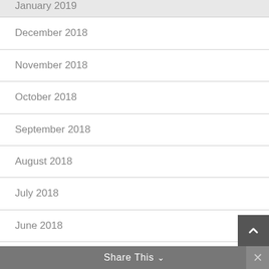January 2019
December 2018
November 2018
October 2018
September 2018
August 2018
July 2018
June 2018
May 2018
April 2018
March 2018
Share This ∨  ×